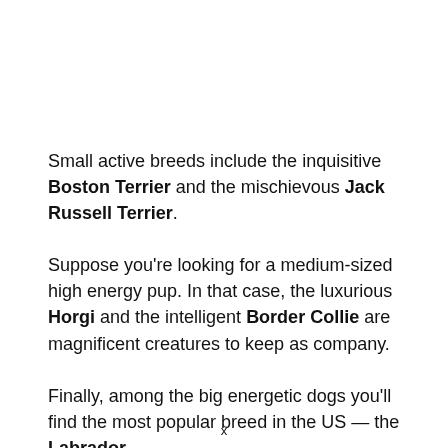Small active breeds include the inquisitive Boston Terrier and the mischievous Jack Russell Terrier.
Suppose you're looking for a medium-sized high energy pup. In that case, the luxurious Horgi and the intelligent Border Collie are magnificent creatures to keep as company.
Finally, among the big energetic dogs you'll find the most popular breed in the US — the Labrador
x